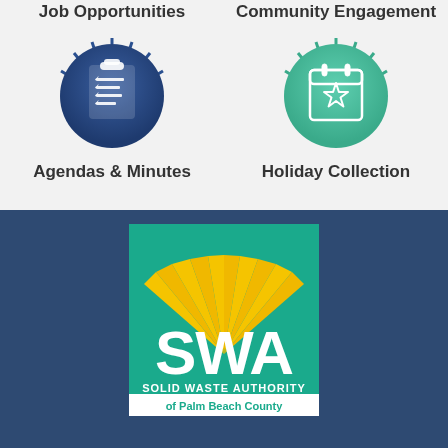[Figure (illustration): Dark blue circle with clipboard and checklist icon in white]
[Figure (illustration): Teal/green circle with calendar star icon in white outline]
Job Opportunities
Community Engagement
Agendas & Minutes
Holiday Collection
[Figure (logo): SWA Solid Waste Authority of Palm Beach County logo — teal background with yellow sunburst, white SWA letters, and white text on teal/white banner]